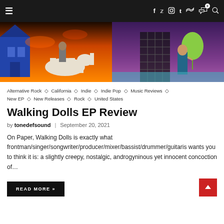Navigation bar with hamburger menu and social icons (Facebook, Twitter, Instagram, Tumblr, SoundCloud, Cart, Search)
[Figure (photo): Hero image collage: left side shows a blue house and person riding a white horse against dramatic orange/red sky; right side shows a person holding a green balloon against purple sky]
Alternative Rock ◇ California ◇ Indie ◇ Indie Pop ◇ Music Reviews ◇ New EP ◇ New Releases ◇ Rock ◇ United States
Walking Dolls EP Review
by tonedefsound | September 20, 2021
On Paper, Walking Dolls is exactly what frontman/singer/songwriter/producer/mixer/bassist/drummer/guitaris wants you to think it is: a slightly creepy, nostalgic, androgyninous yet innocent concoction of…